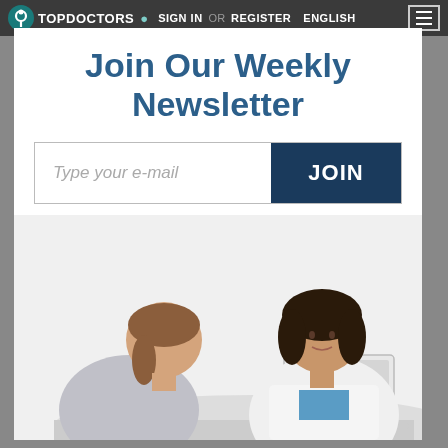TOPDOCTORS  SIGN IN  OR  REGISTER  ENGLISH
Join Our Weekly Newsletter
Type your e-mail
JOIN
[Figure (photo): Two women at a desk consultation — a patient (back to camera, brown hair in ponytail, grey jacket) and a female doctor (white coat, dark hair, looking down at laptop).]